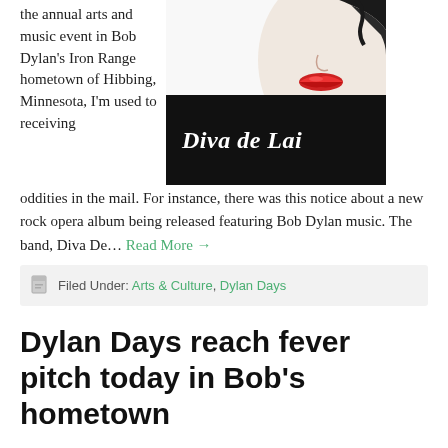the annual arts and music event in Bob Dylan's Iron Range hometown of Hibbing, Minnesota, I'm used to receiving oddities in the mail. For instance, there was this notice about a new rock opera album being released featuring Bob Dylan music. The band, Diva De… Read More →
[Figure (illustration): Image of a face with red lips against a black and white background, with the text 'Diva de Lai' in white italic bold font on a black banner]
Filed Under: Arts & Culture, Dylan Days
Dylan Days reach fever pitch today in Bob's hometown